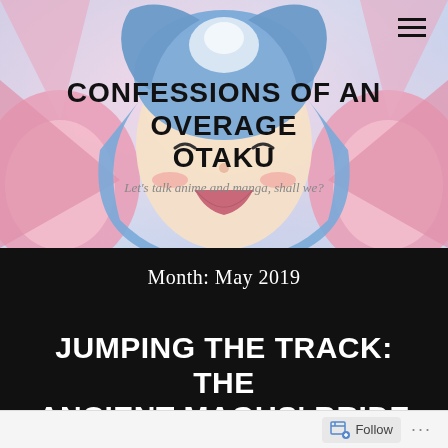[Figure (illustration): Anime character with blue hair, pink background, used as header banner for blog]
CONFESSIONS OF AN OVERAGE OTAKU
Let's talk anime and manga, shall we?
Month: May 2019
JUMPING THE TRACK: THE ANCIENT MAGUS' BRIDE
Follow ...